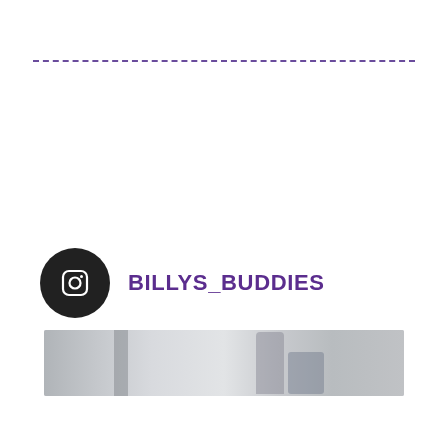[Figure (illustration): Horizontal dashed purple/violet line separator]
BILLYS_BUDDIES
[Figure (photo): Faded/muted photograph showing an adult and child outdoors, likely on a patio or pavement. The child appears to be crouching. Colors are desaturated gray-blue tones.]